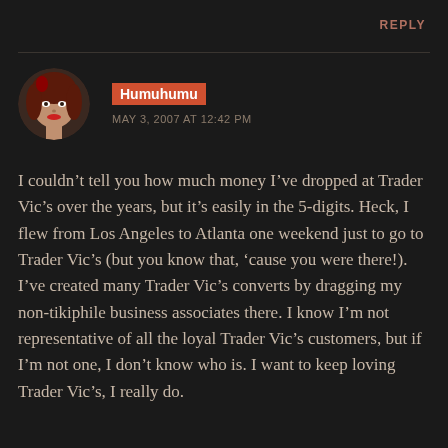REPLY
[Figure (photo): Circular avatar photo of a woman with reddish-brown hair and red lipstick]
Humuhumu
MAY 3, 2007 AT 12:42 PM
I couldn't tell you how much money I've dropped at Trader Vic's over the years, but it's easily in the 5-digits. Heck, I flew from Los Angeles to Atlanta one weekend just to go to Trader Vic's (but you know that, 'cause you were there!). I've created many Trader Vic's converts by dragging my non-tikiphile business associates there. I know I'm not representative of all the loyal Trader Vic's customers, but if I'm not one, I don't know who is. I want to keep loving Trader Vic's, I really do.